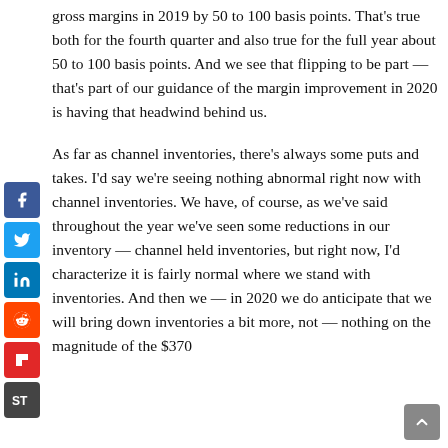gross margins in 2019 by 50 to 100 basis points. That's true both for the fourth quarter and also true for the full year about 50 to 100 basis points. And we see that flipping to be part — that's part of our guidance of the margin improvement in 2020 is having that headwind behind us.
As far as channel inventories, there's always some puts and takes. I'd say we're seeing nothing abnormal right now with channel inventories. We have, of course, as we've said throughout the year we've seen some reductions in our inventory — channel held inventories, but right now, I'd characterize it is fairly normal where we stand with inventories. And then we — in 2020 we do anticipate that we will bring down inventories a bit more, not — nothing on the magnitude of the $370